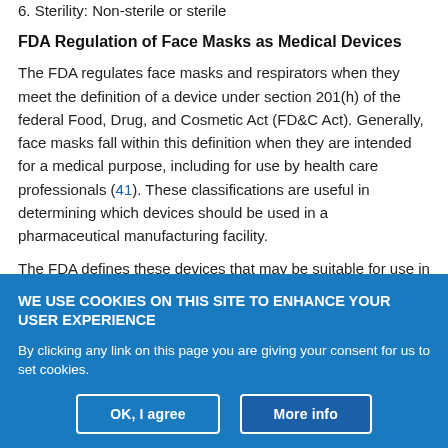6. Sterility: Non-sterile or sterile
FDA Regulation of Face Masks as Medical Devices
The FDA regulates face masks and respirators when they meet the definition of a device under section 201(h) of the federal Food, Drug, and Cosmetic Act (FD&C Act). Generally, face masks fall within this definition when they are intended for a medical purpose, including for use by health care professionals (41). These classifications are useful in determining which devices should be used in a pharmaceutical manufacturing facility.
The FDA defines these devices that may be suitable for use in a
WE USE COOKIES ON THIS SITE TO ENHANCE YOUR USER EXPERIENCE

By clicking any link on this page you are giving your consent for us to set cookies.